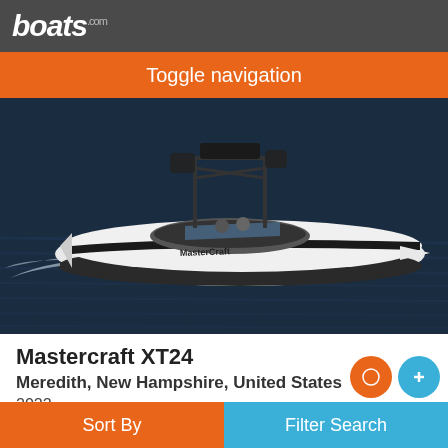boats.com
Toggle navigation
[Figure (photo): A white Mastercraft XT24 wake boat on dark blue water, viewed from above-left angle, with a wake tower mounted. The hull is white with a dark stripe. The boat is moving through the water.]
Mastercraft XT24
Meredith, New Hampshire, United States
2022
£153,783
Sort By  Filter Search